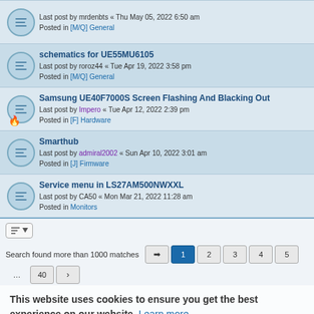Last post by mrdenbts « Thu May 05, 2022 6:50 am
Posted in [M/Q] General
schematics for UE55MU6105
Last post by roroz44 « Tue Apr 19, 2022 3:58 pm
Posted in [M/Q] General
Samsung UE40F7000S Screen Flashing And Blacking Out
Last post by Impero « Tue Apr 12, 2022 2:39 pm
Posted in [F] Hardware
Smarthub
Last post by admiral2002 « Sun Apr 10, 2022 3:01 am
Posted in [J] Firmware
Service menu in LS27AM500NWXXL
Last post by CA50 « Mon Mar 21, 2022 11:28 am
Posted in Monitors
Search found more than 1000 matches
This website uses cookies to ensure you get the best experience on our website. Learn more
Got it!
Home · Board index | All times are UTC+01:00
Powered by phpBB® Forum Software © phpBB Limited
Privacy | Terms